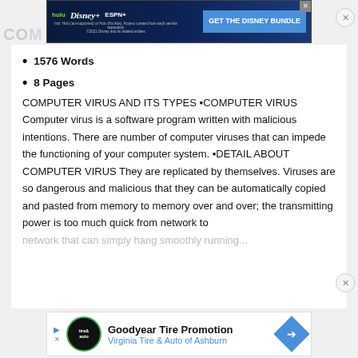[Figure (screenshot): Disney Bundle advertisement banner with Hulu, Disney+, ESPN+ logos and 'GET THE DISNEY BUNDLE' button on dark blue background]
1576 Words
8 Pages
COMPUTER VIRUS AND ITS TYPES ▪COMPUTER VIRUS Computer virus is a software program written with malicious intentions. There are number of computer viruses that can impede the functioning of your computer system. ▪DETAIL ABOUT COMPUTER VIRUS They are replicated by themselves. Viruses are so dangerous and malicious that they can be automatically copied and pasted from memory to memory over and over; the transmitting power is too much quick from network to network that can simply hang smoothly running...
[Figure (screenshot): Goodyear Tire Promotion advertisement for Virginia Tire & Auto of Ashburn with logo and navigation arrow]